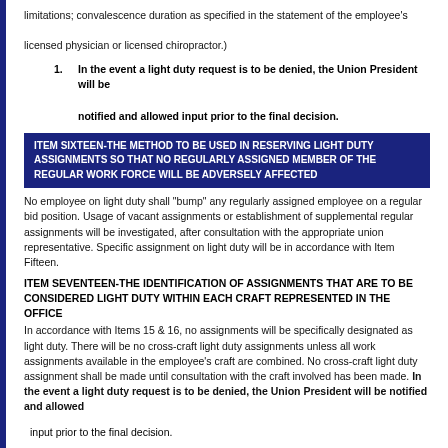limitations; convalescence duration as specified in the statement of the employee's licensed physician or licensed chiropractor.)
In the event a light duty request is to be denied, the Union President will be notified and allowed input prior to the final decision.
ITEM SIXTEEN-THE METHOD TO BE USED IN RESERVING LIGHT DUTY ASSIGNMENTS SO THAT NO REGULARLY ASSIGNED MEMBER OF THE REGULAR WORK FORCE WILL BE ADVERSELY AFFECTED
No employee on light duty shall "bump" any regularly assigned employee on a regular bid position. Usage of vacant assignments or establishment of supplemental regular assignments will be investigated, after consultation with the appropriate union representative. Specific assignment on light duty will be in accordance with Item Fifteen.
ITEM SEVENTEEN-THE IDENTIFICATION OF ASSIGNMENTS THAT ARE TO BE CONSIDERED LIGHT DUTY WITHIN EACH CRAFT REPRESENTED IN THE OFFICE
In accordance with Items 15 & 16, no assignments will be specifically designated as light duty. There will be no cross-craft light duty assignments unless all work assignments available in the employee's craft are combined. No cross-craft light duty assignment shall be made until consultation with the craft involved has been made. In the event a light duty request is to be denied, the Union President will be notified and allowed
input prior to the final decision.